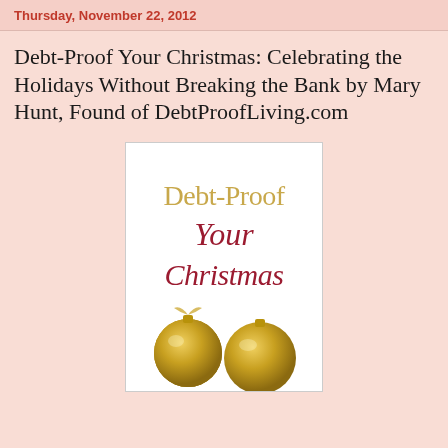Thursday, November 22, 2012
Debt-Proof Your Christmas: Celebrating the Holidays Without Breaking the Bank by Mary Hunt, Found of DebtProofLiving.com
[Figure (illustration): Book cover of 'Debt-Proof Your Christmas' showing the title in gold and crimson text with two golden Christmas ornament balls at the bottom on a white background.]